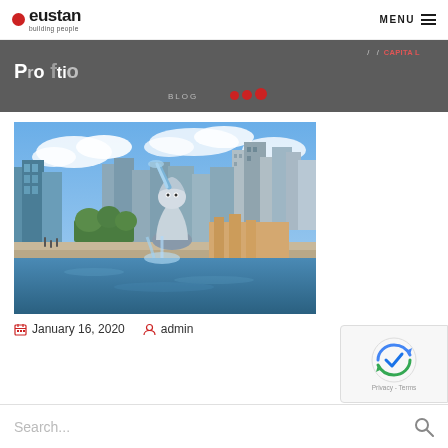eustan building people — MENU
CAPITAL (breadcrumb/banner text)
[Figure (photo): Singapore Merlion statue with city skyline in the background, waterfront scene with blue sky and clouds]
January 16, 2020   admin
Search...